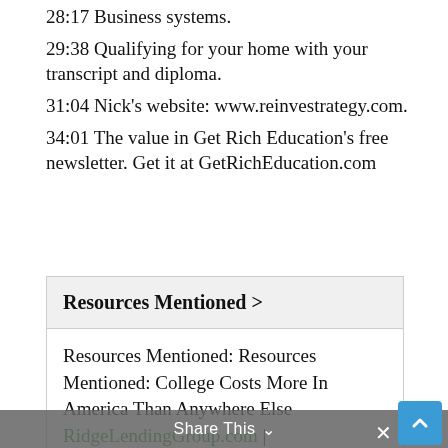28:17 Business systems.
29:38 Qualifying for your home with your transcript and diploma.
31:04 Nick's website: www.reinvestrategy.com.
34:01 The value in Get Rich Education's free newsletter. Get it at GetRichEducation.com
Resources Mentioned >
Resources Mentioned: Resources Mentioned: College Costs More In America Than Anywhere Else RidgeLendingGroup.com | NoradaRealEstate.com |